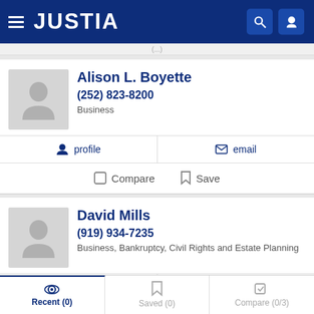JUSTIA
Alison L. Boyette
(252) 823-8200
Business
profile  |  email
Compare  Save
David Mills
(919) 934-7235
Business, Bankruptcy, Civil Rights and Estate Planning
profile  |  email
Recent (0)  Saved (0)  Compare (0/3)